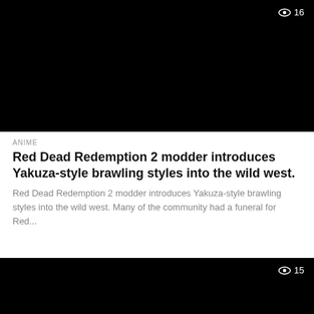[Figure (screenshot): Black video thumbnail with eye icon and view count '16' in top right corner]
ANIME
Red Dead Redemption 2 modder introduces Yakuza-style brawling styles into the wild west.
Red Dead Redemption 2 modder introduces Yakuza-style brawling styles into the wild west. Many of the community had a funeral for Red...
[Figure (screenshot): Black video thumbnail with eye icon and view count '15' in top right corner]